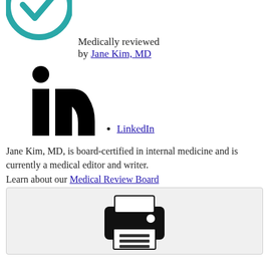[Figure (logo): Verywell Health teal checkmark logo, partially visible at top]
Medically reviewed by Jane Kim, MD
[Figure (logo): LinkedIn 'in' logo in black]
LinkedIn
Jane Kim, MD, is board-certified in internal medicine and is currently a medical editor and writer.
Learn about our Medical Review Board
[Figure (illustration): Print icon on light gray background]